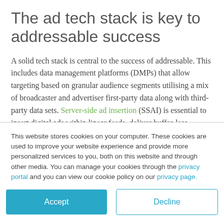The ad tech stack is key to addressable success
A solid tech stack is central to the success of addressable. This includes data management platforms (DMPs) that allow targeting based on granular audience segments utilising a mix of broadcaster and advertiser first-party data along with third-party data sets. Server-side ad insertion (SSAI) is essential to insert digital ads within linear feeds, deliver buffer-less transition between ads and content, and manage creative separation and
This website stores cookies on your computer. These cookies are used to improve your website experience and provide more personalized services to you, both on this website and through other media. You can manage your cookies through the privacy portal and you can view our cookie policy on our privacy page.